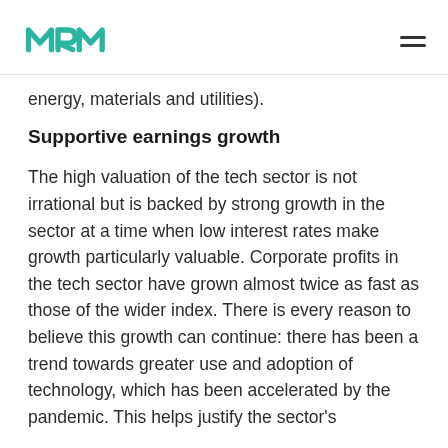MRM [logo]
energy, materials and utilities).
Supportive earnings growth
The high valuation of the tech sector is not irrational but is backed by strong growth in the sector at a time when low interest rates make growth particularly valuable. Corporate profits in the tech sector have grown almost twice as fast as those of the wider index. There is every reason to believe this growth can continue: there has been a trend towards greater use and adoption of technology, which has been accelerated by the pandemic. This helps justify the sector's